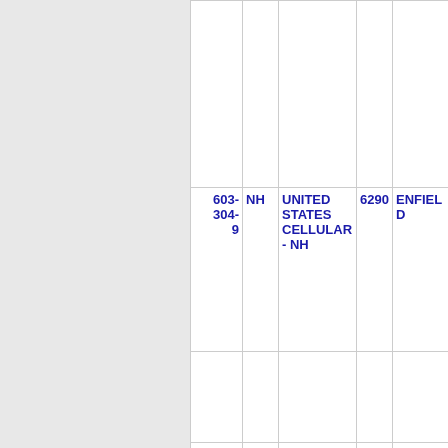| Phone | State | Carrier | Num | City |
| --- | --- | --- | --- | --- |
|  |  |  |  |  |
| 603-304-9 | NH | UNITED STATES CELLULAR - NH | 6290 | ENFIELD |
|  |  |  |  |  |
| 603- | NH | UNITED | 6290 | KEENE |